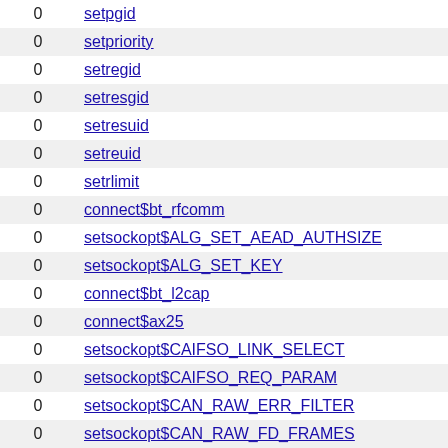|  |  |
| --- | --- |
| 0 | setpgid |
| 0 | setpriority |
| 0 | setregid |
| 0 | setresgid |
| 0 | setresuid |
| 0 | setreuid |
| 0 | setrlimit |
| 0 | connect$bt_rfcomm |
| 0 | setsockopt$ALG_SET_AEAD_AUTHSIZE |
| 0 | setsockopt$ALG_SET_KEY |
| 0 | connect$bt_l2cap |
| 0 | connect$ax25 |
| 0 | setsockopt$CAIFSO_LINK_SELECT |
| 0 | setsockopt$CAIFSO_REQ_PARAM |
| 0 | setsockopt$CAN_RAW_ERR_FILTER |
| 0 | setsockopt$CAN_RAW_FD_FRAMES |
| 0 | setsockopt$CAN_RAW_FILTER |
| 0 | setsockopt$CAN_RAW_JOIN_FILTERS |
| 0 | setsockopt$CAN_RAW_LOOPBACK |
| 0 | setsockopt$CAN_RAW_RECV_OWN_MSGS |
| 0 | connect$802154_dgram |